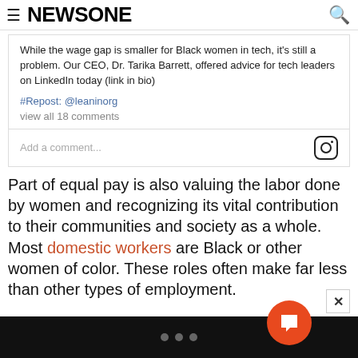NEWSONE
While the wage gap is smaller for Black women in tech, it's still a problem. Our CEO, Dr. Tarika Barrett, offered advice for tech leaders on LinkedIn today (link in bio)
#Repost: @leaninorg
view all 18 comments
Add a comment...
Part of equal pay is also valuing the labor done by women and recognizing its vital contribution to their communities and society as a whole. Most domestic workers are Black or other women of color. These roles often make far less than other types of employment.